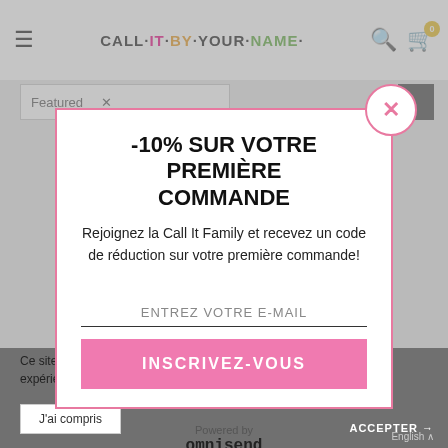[Figure (screenshot): Website header with hamburger menu, CALL IT BY YOUR NAME logo (multicolor), search and cart icons]
-10% SUR VOTRE PREMIÈRE COMMANDE
Rejoignez la Call It Family et recevez un code de réduction sur votre première commande!
ENTREZ VOTRE E-MAIL
INSCRIVEZ-VOUS
Powered by omnisend
Ce site web utilise des cookies pour vous garantir la meilleure expérience d'utilisation possible.
J'ai compris
ACCEPTER